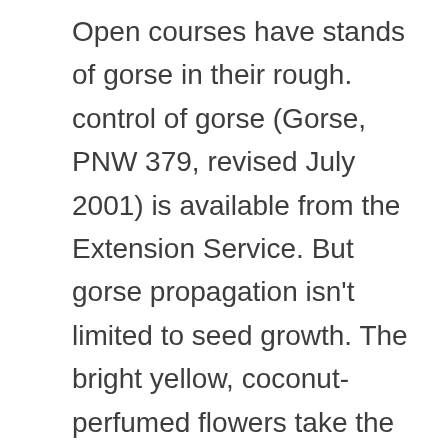Open courses have stands of gorse in their rough. control of gorse (Gorse, PNW 379, revised July 2001) is available from the Extension Service. But gorse propagation isn't limited to seed growth. The bright yellow, coconut-perfumed flowers take the shape of pea blossoms, and grow at the end of the gorse branches. Gorse reproduces by seeds and can resprout from roots or root fragments. I've used horse chestnut cream for spider veins and it did reduce their appearance a little bit. Sign up for our newsletter. I surely passed it by on the several occasions I have visited this genuinely fascinating place, usually in the rain, both with my own children and whilst accompanying